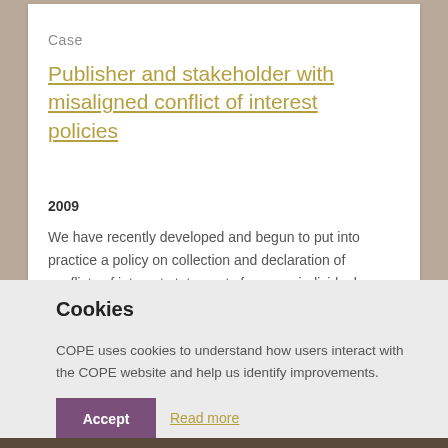Case
Publisher and stakeholder with misaligned conflict of interest policies
2009
We have recently developed and begun to put into practice a policy on collection and declaration of conflicts of interest statements from any individual
Cookies
COPE uses cookies to understand how users interact with the COPE website and help us identify improvements.
Accept
Read more